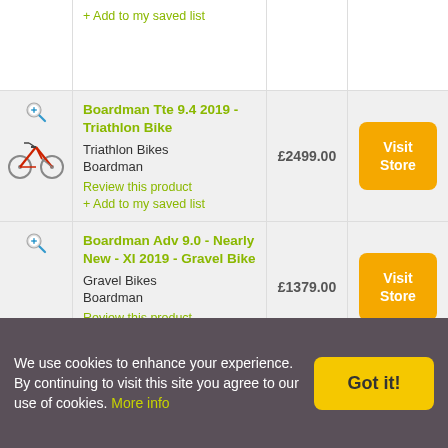+ Add to my saved list
Boardman Tte 9.4 2019 - Triathlon Bike
Triathlon Bikes
Boardman
Review this product
+ Add to my saved list
£2499.00
Visit Store
Boardman Adv 9.0 - Nearly New - XI 2019 - Gravel Bike
Gravel Bikes
Boardman
Review this product
+ Add to my saved list
£1379.00
Visit Store
We use cookies to enhance your experience. By continuing to visit this site you agree to our use of cookies. More info
Got it!